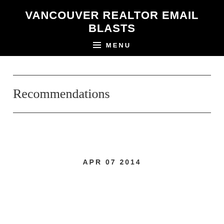VANCOUVER REALTOR EMAIL BLASTS
≡ MENU
Recommendations
APR 07 2014